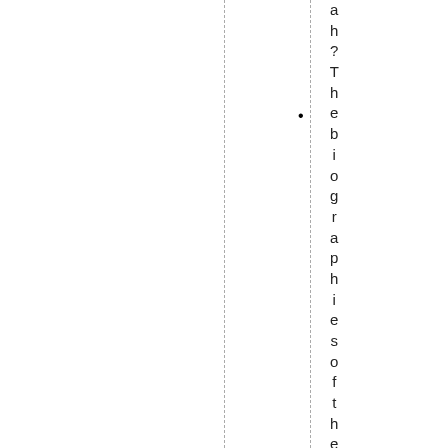ah? The biographies of the four I mam